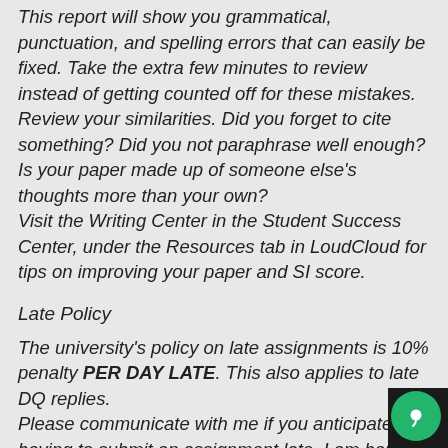This report will show you grammatical, punctuation, and spelling errors that can easily be fixed. Take the extra few minutes to review instead of getting counted off for these mistakes. Review your similarities. Did you forget to cite something? Did you not paraphrase well enough? Is your paper made up of someone else's thoughts more than your own? Visit the Writing Center in the Student Success Center, under the Resources tab in LoudCloud for tips on improving your paper and SI score.
Late Policy
The university's policy on late assignments is 10% penalty PER DAY LATE. This also applies to late DQ replies. Please communicate with me if you anticipate having to submit an assignment late. I am happy to be flexible with advance notice. We may be able to work out an